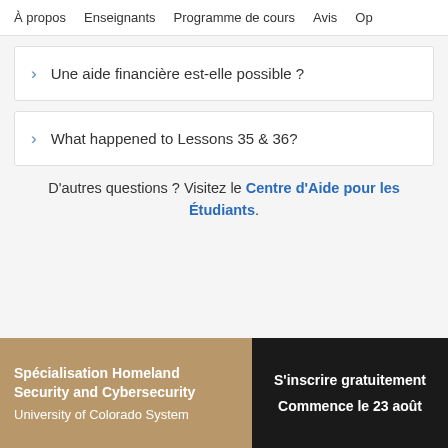À propos   Enseignants   Programme de cours   Avis   Op
Une aide financière est-elle possible ?
What happened to Lessons 35 & 36?
D'autres questions ? Visitez le Centre d'Aide pour les Étudiants.
Spécialisation Homeland Security and Cybersecurity
University of Colorado System
S'inscrire gratuitement
Commence le 23 août